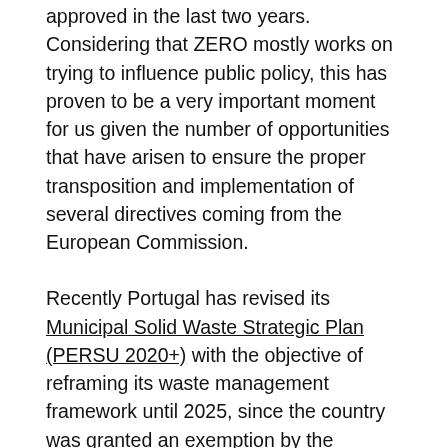approved in the last two years. Considering that ZERO mostly works on trying to influence public policy, this has proven to be a very important moment for us given the number of opportunities that have arisen to ensure the proper transposition and implementation of several directives coming from the European Commission.
Recently Portugal has revised its Municipal Solid Waste Strategic Plan (PERSU 2020+) with the objective of reframing its waste management framework until 2025, since the country was granted an exemption by the European Commission on their targets for 2020. PERSU 2020+ sets the stage for the future implementation of waste directives nationally. It reflects amendments in 2018 to the EU Waste Framework Directive, which outlined targets of a 65%